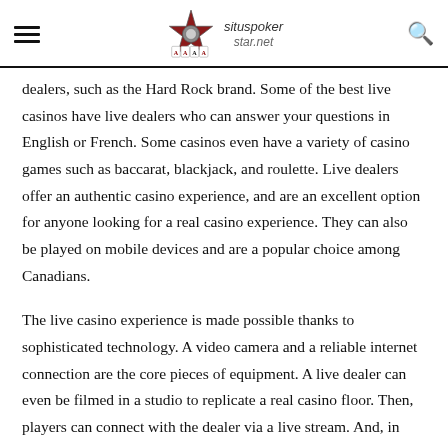situspokerstar.net
dealers, such as the Hard Rock brand. Some of the best live casinos have live dealers who can answer your questions in English or French. Some casinos even have a variety of casino games such as baccarat, blackjack, and roulette. Live dealers offer an authentic casino experience, and are an excellent option for anyone looking for a real casino experience. They can also be played on mobile devices and are a popular choice among Canadians.
The live casino experience is made possible thanks to sophisticated technology. A video camera and a reliable internet connection are the core pieces of equipment. A live dealer can even be filmed in a studio to replicate a real casino floor. Then, players can connect with the dealer via a live stream. And, in some cases, the dealers can interact with